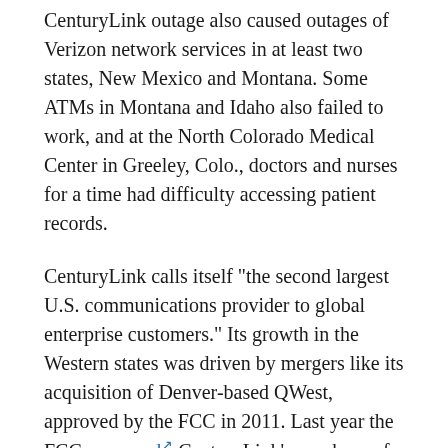CenturyLink outage also caused outages of Verizon network services in at least two states, New Mexico and Montana. Some ATMs in Montana and Idaho also failed to work, and at the North Colorado Medical Center in Greeley, Colo., doctors and nurses for a time had difficulty accessing patient records.
CenturyLink calls itself "the second largest U.S. communications provider to global enterprise customers." Its growth in the Western states was driven by mergers like its acquisition of Denver-based QWest, approved by the FCC in 2011. Last year the FCC approved CenturyLink's purchase of Level-3 Communications in a deal valued at approximately $34 billion.